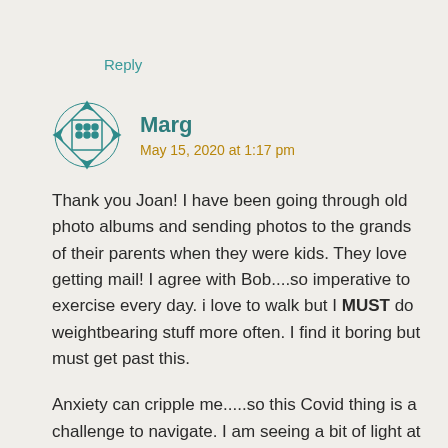Reply
Marg
May 15, 2020 at 1:17 pm
Thank you Joan! I have been going through old photo albums and sending photos to the grands of their parents when they were kids. They love getting mail! I agree with Bob....so imperative to exercise every day. i love to walk but I MUST do weightbearing stuff more often. I find it boring but must get past this.
Anxiety can cripple me.....so this Covid thing is a challenge to navigate. I am seeing a bit of light at